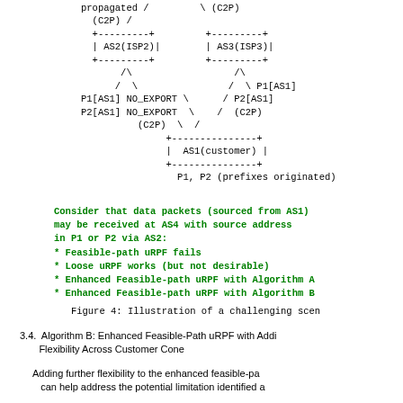[Figure (other): Network diagram showing AS topology with AS2(ISP2), AS3(ISP3), AS1(customer) nodes connected by C2P links with route annotations showing P1[AS1] NO_EXPORT and P2[AS1] NO_EXPORT on the left, and P1[AS1], P2[AS1], (C2P) on the right, and P1, P2 (prefixes originated) at bottom.]
Consider that data packets (sourced from AS1) may be received at AS4 with source address in P1 or P2 via AS2:
* Feasible-path uRPF fails
* Loose uRPF works (but not desirable)
* Enhanced Feasible-path uRPF with Algorithm A
* Enhanced Feasible-path uRPF with Algorithm B
Figure 4: Illustration of a challenging scen
3.4.  Algorithm B: Enhanced Feasible-Path uRPF with Addi
       Flexibility Across Customer Cone
Adding further flexibility to the enhanced feasible-pa
   can help address the potential limitation identified a